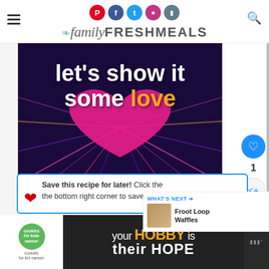familyFRESHMEALS website header with social icons and search
[Figure (photo): Dark purple background image with radiating neon lines and a pink heart shape in the center. White bold text reads 'let's show it some love' with 'love' in orange/yellow color.]
1
WHAT'S NEXT → Froot Loop Waffles
Save this recipe for later! Click the ❤ the bottom right corner to save to your
[Figure (photo): Advertisement banner: cookies for kids cancer logo on left, text 'your HOBBY is their HOPE' on dark background]